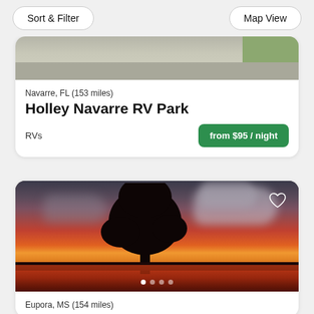Sort & Filter | Map View
[Figure (photo): Top portion of an RV park photo showing pavement/road with grass on right side]
Navarre, FL (153 miles)
Holley Navarre RV Park
RVs
from $95 / night
[Figure (photo): A dramatic sunset photo with a large tree silhouette in the center, vivid red-orange sky, and water reflection below. Pagination dots at bottom.]
Eupora, MS (154 miles)